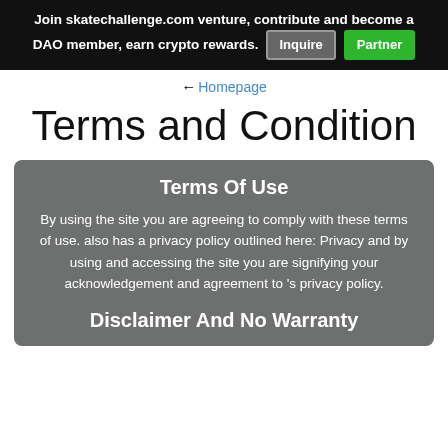Join skatechallenge.com venture, contribute and become a DAO member, earn crypto rewards. Inquire  Partner
← Homepage
Terms and Condition
Terms Of Use
By using the site you are agreeing to comply with these terms of use. also has a privacy policy outlined here: Privacy and by using and accessing the site you are signifying your acknowledgement and agreement to 's privacy policy.
Disclaimer And No Warranty